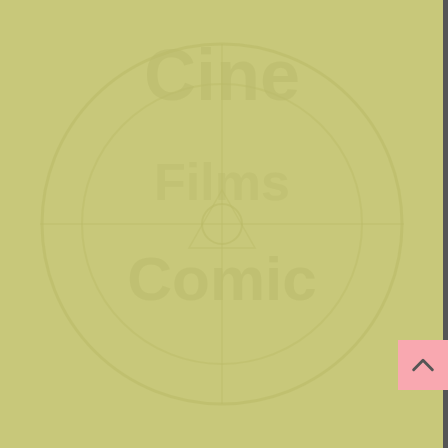| Name | Band | Album/Link |
| --- | --- | --- |
| Ruggero Zanolini | Vanadium | Ne... |
| Ruggero Zanolin | Vanadium | Se... |
| Rui Lino | Evidence | Tru... |
| Rupert Keplinger | Darkhaus | My... |
| Rupert Keplinger | Darkhaus | Pro... |
| Rupert Keplinger | Darkhaus | Wh... |
| Russ Kirlin | EZ | Thi... |
| Russell Pilling | Choirboys | Da... Gra... Ro... |
| Rusty Ballinger | Head Dizzy | Bo... |
| Ruud Houweling | Ayreon | The... Exp... |
| Sam Flint | Chrome Molly | Ho... |